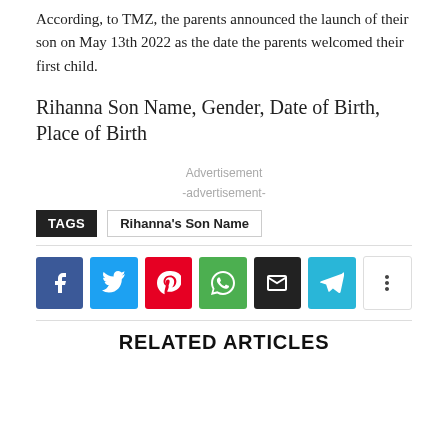According, to TMZ, the parents announced the launch of their son on May 13th 2022 as the date the parents welcomed their first child.
Rihanna Son Name, Gender, Date of Birth, Place of Birth
Advertisement
-advertisement-
TAGS  Rihanna's Son Name
[Figure (infographic): Social sharing buttons: Facebook, Twitter, Pinterest, WhatsApp, Email, Telegram, More]
RELATED ARTICLES